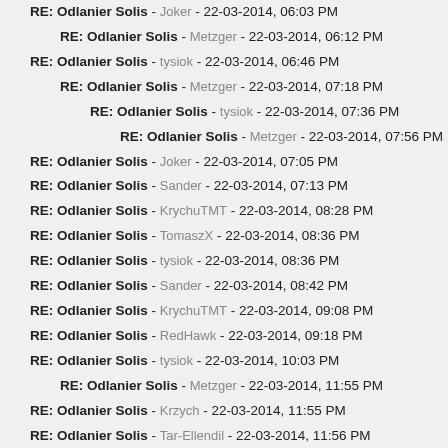RE: Odlanier Solis - Joker - 22-03-2014, 06:03 PM
RE: Odlanier Solis - Metzger - 22-03-2014, 06:12 PM
RE: Odlanier Solis - tysiok - 22-03-2014, 06:46 PM
RE: Odlanier Solis - Metzger - 22-03-2014, 07:18 PM
RE: Odlanier Solis - tysiok - 22-03-2014, 07:36 PM
RE: Odlanier Solis - Metzger - 22-03-2014, 07:56 PM
RE: Odlanier Solis - Joker - 22-03-2014, 07:05 PM
RE: Odlanier Solis - Sander - 22-03-2014, 07:13 PM
RE: Odlanier Solis - KrychuTMT - 22-03-2014, 08:28 PM
RE: Odlanier Solis - TomaszX - 22-03-2014, 08:36 PM
RE: Odlanier Solis - tysiok - 22-03-2014, 08:36 PM
RE: Odlanier Solis - Sander - 22-03-2014, 08:42 PM
RE: Odlanier Solis - KrychuTMT - 22-03-2014, 09:08 PM
RE: Odlanier Solis - RedHawk - 22-03-2014, 09:18 PM
RE: Odlanier Solis - tysiok - 22-03-2014, 10:03 PM
RE: Odlanier Solis - Metzger - 22-03-2014, 11:55 PM
RE: Odlanier Solis - Krzych - 22-03-2014, 11:55 PM
RE: Odlanier Solis - Tar-Ellendil - 22-03-2014, 11:56 PM
RE: Odlanier Solis - BMH - 22-03-2014, 11:58 PM
RE: Odlanier Solis - KrychuTMT - 22-03-2014, 11:59 PM
RE: Odlanier Solis - Krzych - 23-03-2014, 12:03 AM
RE: Odlanier Solis - BMH - 23-03-2014, 12:11 AM
RE: Odlanier Solis - RedHawk - 23-03-2014, 12:12 AM
RE: Odlanier Solis - kubala1122331 - 23-03-2014, 12:13 AM